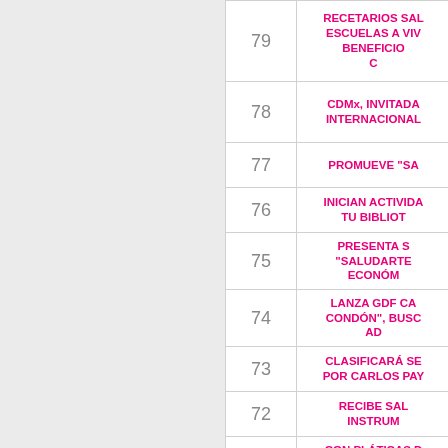| Número | Título |
| --- | --- |
| 79 | RECETARIOS SAL... ESCUELAS A VIV... BENEFICIO... C |
| 78 | CDMx, INVITADA... INTERNACIONAL |
| 77 | PROMUEVE "SA |
| 76 | INICIAN ACTIVIDA... TU BIBLIOT |
| 75 | PRESENTA S... "SALUDARTE... ECONÓM |
| 74 | LANZA GDF CA... CONDÓN", BUSC... AD |
| 73 | CLASIFICARÁ SE... POR CARLOS PAY |
| 72 | RECIBE SAL... INSTRUM |
| 71 | CON PLÁTICAS D... DISMINUIR LA DES... MED |
| 70 | PIDE MARA RO |